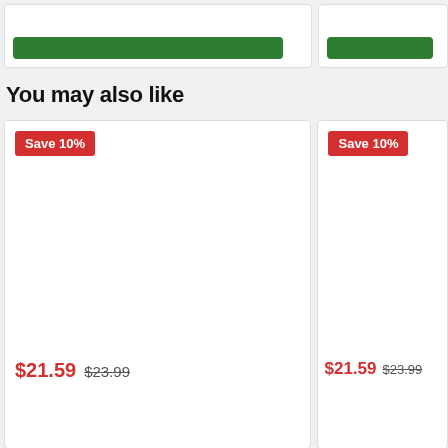[Figure (screenshot): Top strip showing two product cards partially visible, each with a green Add to Cart button at the bottom.]
You may also like
[Figure (screenshot): Left product card with red Save 10% badge, white image area, sale price $21.59, original price $23.99, and partial product name text at bottom.]
[Figure (screenshot): Right product card (partially visible) with red Save 10% badge, white image area, sale price $21.59, original price $23.99.]
$21.59  $23.99
$21.59  $23.99